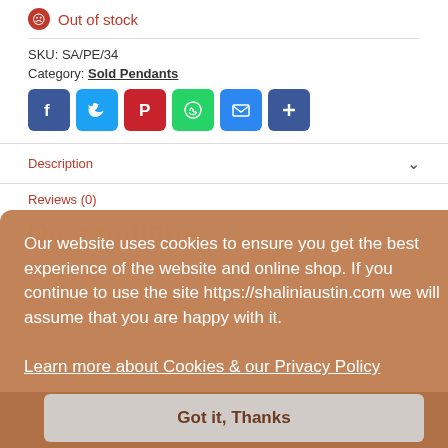Out of stock
SKU: SA/PE/34
Category: Sold Pendants
[Figure (infographic): Social share buttons: Facebook, Twitter, Pinterest, WhatsApp, Email, Share]
Description
Reviews (0)
Description
Our website uses cookies to ensure you get the best experience of the website and online shop. If you continue to use the site https://shaliniaustin.com we will assume that you are happy with it.
Learn more about Cookies & our Privacy Policy
Got it, Thanks